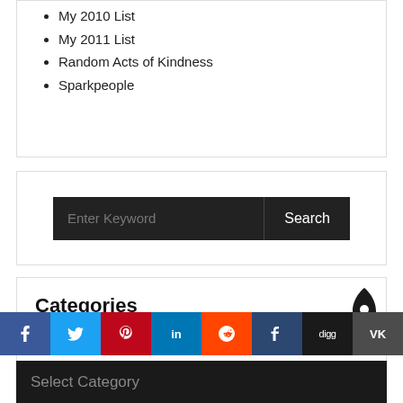My 2010 List
My 2011 List
Random Acts of Kindness
Sparkpeople
[Figure (screenshot): Search bar with dark background, placeholder text 'Enter Keyword' and 'Search' button]
Categories
[Figure (infographic): Social sharing bar with icons for Facebook, Twitter, Pinterest, LinkedIn, Reddit, Tumblr, Digg, VK]
[Figure (screenshot): Dark dropdown bar with 'Select Category' text]